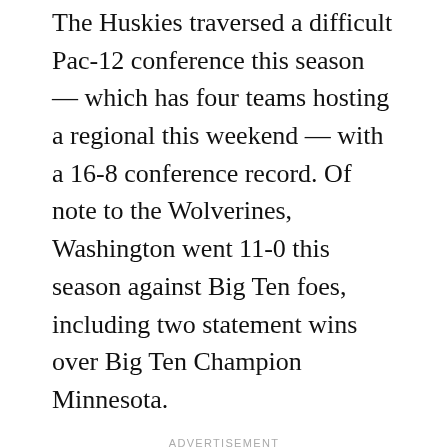The Huskies traversed a difficult Pac-12 conference this season — which has four teams hosting a regional this weekend — with a 16-8 conference record. Of note to the Wolverines, Washington went 11-0 this season against Big Ten foes, including two statement wins over Big Ten Champion Minnesota.
ADVERTISEMENT
The Huskies are led by a balanced lineup, with five hitters hitting at least .338 on the year, and three with double-digit home run totals.
Right-hander Taran Alvelo, fresh off her first